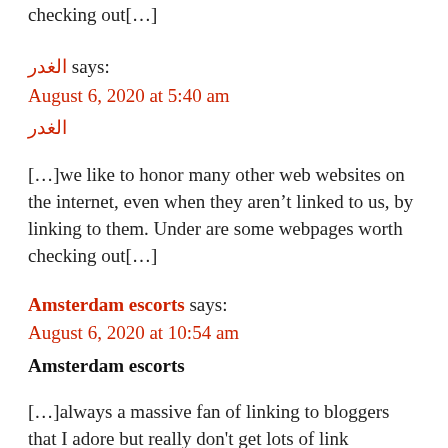checking out[…]
الغدر says:
August 6, 2020 at 5:40 am
الغدر
[…]we like to honor many other web websites on the internet, even when they aren't linked to us, by linking to them. Under are some webpages worth checking out[…]
Amsterdam escorts says:
August 6, 2020 at 10:54 am
Amsterdam escorts
[…]always a massive fan of linking to bloggers that I adore but really don't get lots of link appreciate from[…]